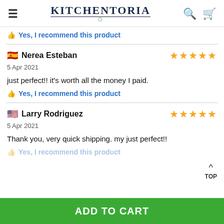KITCHENTORIA
👍 Yes, I recommend this product
🇪🇸 Nerea Esteban ★★★★★
5 Apr 2021
just perfect!! it's worth all the money I paid.
👍 Yes, I recommend this product
🇺🇸 Larry Rodriguez ★★★★★
5 Apr 2021
Thank you, very quick shipping. my just perfect!!
👍 Yes, I recommend this product
ADD TO CART